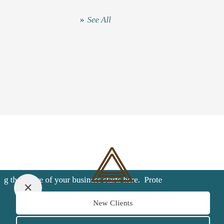» See All
[Figure (logo): Stylized letter A logo mark in dark brown/bronze color, triangle shape with crossbar]
g the future of your business starts here.  Prote
New Clients
Renewing Clients